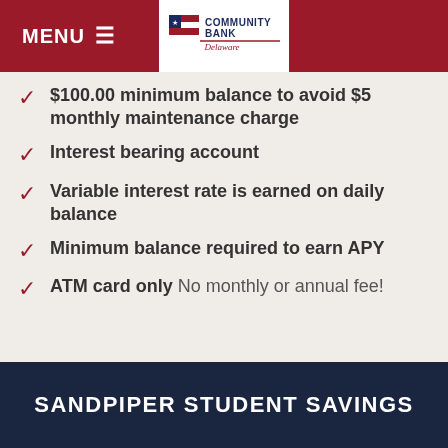MENU  Community Bank Delaware
$100.00 minimum balance to avoid $5 monthly maintenance charge
Interest bearing account
Variable interest rate is earned on daily balance
Minimum balance required to earn APY
ATM card only No monthly or annual fee!
SANDPIPER STUDENT SAVINGS
Minimum to open: $10.00